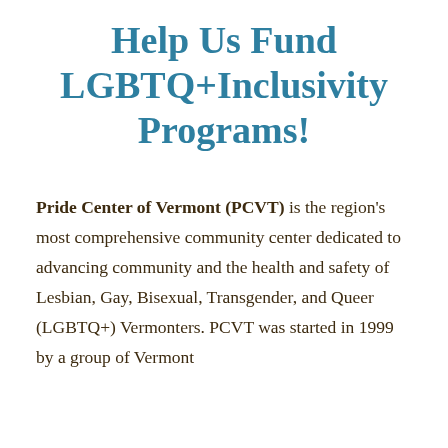Help Us Fund LGBTQ+Inclusivity Programs!
Pride Center of Vermont (PCVT) is the region's most comprehensive community center dedicated to advancing community and the health and safety of Lesbian, Gay, Bisexual, Transgender, and Queer (LGBTQ+) Vermonters. PCVT was started in 1999 by a group of Vermont